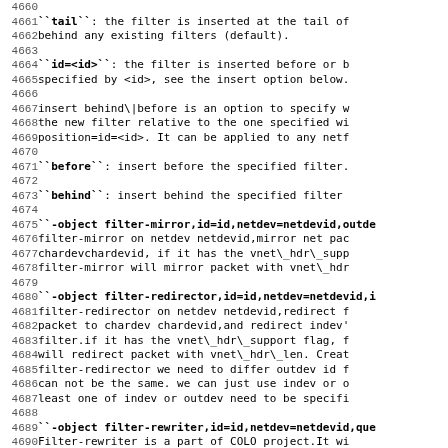Lines 4660-4691 of monospace documentation/source code showing QEMU filter object documentation